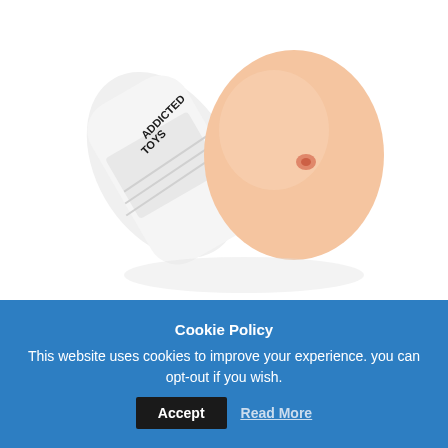[Figure (photo): Product photo of a flesh-colored anal masturbator toy in a white cylindrical container labeled 'Addicted Toys', shown on a white background at an angle]
ADDICTED TOYS ANAL MASTURBATOR
€19.95
Cookie Policy
This website uses cookies to improve your experience. you can opt-out if you wish.
Accept
Read More